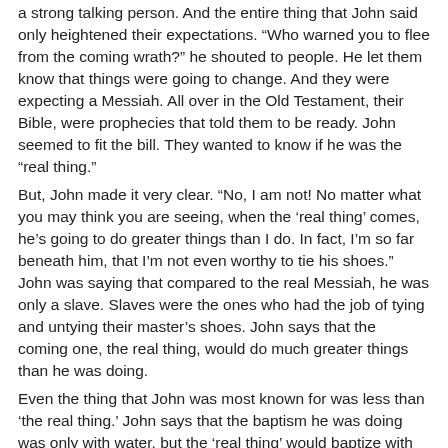a strong talking person. And the entire thing that John said only heightened their expectations. “Who warned you to flee from the coming wrath?” he shouted to people. He let them know that things were going to change. And they were expecting a Messiah. All over in the Old Testament, their Bible, were prophecies that told them to be ready. John seemed to fit the bill. They wanted to know if he was the “real thing.”
But, John made it very clear. “No, I am not! No matter what you may think you are seeing, when the ‘real thing’ comes, he’s going to do greater things than I do. In fact, I’m so far beneath him, that I’m not even worthy to tie his shoes.” John was saying that compared to the real Messiah, he was only a slave. Slaves were the ones who had the job of tying and untying their master’s shoes. John says that the coming one, the real thing, would do much greater things than he was doing.
Even the thing that John was most known for was less than ‘the real thing.’ John says that the baptism he was doing was only with water, but the ‘real thing’ would baptize with the Holy Spirit and fire. John’s baptism was only in preparation of the ‘real thing’ to come. He shouted at the people reminding them that they were all sinful. “You brood of